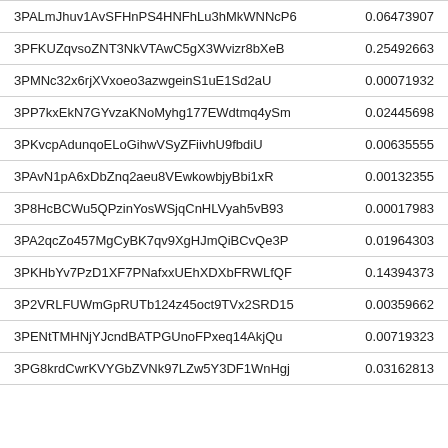| 3PALmJhuv1AvSFHnPS4HNFhLu3hMkWNNcP6 | 0.06473907 |
| 3PFKUZqvsoZNT3NkVTAwC5gX3Wvizr8bXeB | 0.25492663 |
| 3PMNc32x6rjXVxoeo3azwgeinS1uE1Sd2aU | 0.00071932 |
| 3PP7kxEkN7GYvzaKNoMyhg177EWdtmq4ySm | 0.02445698 |
| 3PKvcpAdunqoELoGihwVSyZFiivhU9fbdiU | 0.00635555 |
| 3PAvN1pA6xDbZnq2aeu8VEwkowbjyBbi1xR | 0.00132355 |
| 3P8HcBCWu5QPzinYosWSjqCnHLVyah5vB93 | 0.00017983 |
| 3PA2qcZo457MgCyBK7qv9XgHJmQiBCvQe3P | 0.01964303 |
| 3PKHbYv7PzD1XF7PNafxxUEhXDXbFRWLfQF | 0.14394373 |
| 3P2VRLFUWmGpRUTb124z45oct9TVx2SRD15 | 0.00359662 |
| 3PENtTMHNjYJcndBATPGUnoFPxeq14AkjQu | 0.00719323 |
| 3PG8krdCwrKVYGbZVNk97LZw5Y3DF1WnHgj | 0.03162813 |